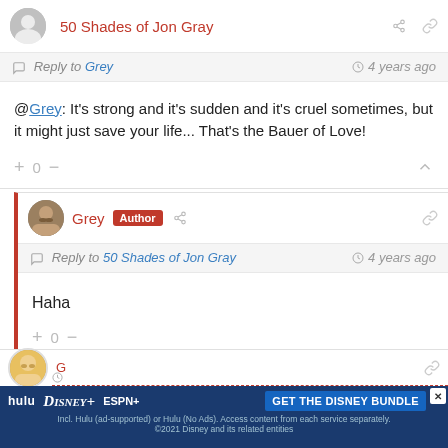50 Shades of Jon Gray
Reply to Grey · 4 years ago
@Grey: It's strong and it's sudden and it's cruel sometimes, but it might just save your life... That's the Bauer of Love!
+  0  -
Grey Author
Reply to 50 Shades of Jon Gray · 4 years ago
Haha
+  0  -
[Figure (screenshot): Hulu Disney+ ESPN+ GET THE DISNEY BUNDLE advertisement banner at bottom of page]